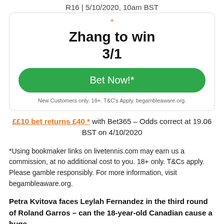R16 | 5/10/2020, 10am BST
Zhang to win
3/1
Bet Now!*
New Customers only. 18+. T&C's Apply. begambleaware.org.
££10 bet returns £40 * with Bet365 – Odds correct at 19.06 BST on 4/10/2020
*Using bookmaker links on livetennis.com may earn us a commission, at no additional cost to you. 18+ only. T&Cs apply. Please gamble responsibly. For more information, visit begambleaware.org.
Petra Kvitova faces Leylah Fernandez in the third round of Roland Garros – can the 18-year-old Canadian cause a huge